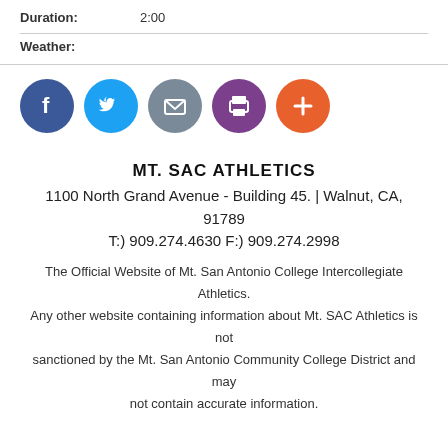Duration: 2:00
Weather:
[Figure (illustration): Row of 5 social media icon circles: Facebook (blue), Twitter (light blue), Email (gray), Print (purple), Add/Plus (orange)]
MT. SAC ATHLETICS
1100 North Grand Avenue - Building 45. | Walnut, CA, 91789
T:) 909.274.4630 F:) 909.274.2998
The Official Website of Mt. San Antonio College Intercollegiate Athletics. Any other website containing information about Mt. SAC Athletics is not sanctioned by the Mt. San Antonio Community College District and may not contain accurate information.